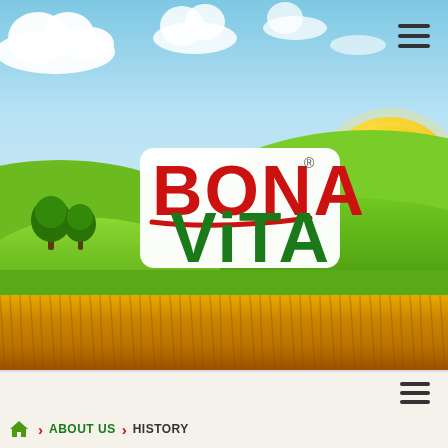[Figure (illustration): Bona Vita brand hero image showing a sunny wheat field landscape with green rolling hills, blue sky with white clouds, a bright yellow sun, two trees on a green hill at left, and a golden wheat field in the foreground. The Bona Vita logo (BONA in red, VITA in green with white background) is centered in the image.]
BONA VITA
[Figure (illustration): Hamburger menu icon (three horizontal lines) in dark color in the top right of hero section]
[Figure (illustration): Hamburger menu icon (three horizontal lines) in dark color in white bottom section]
ABOUT US   HISTORY